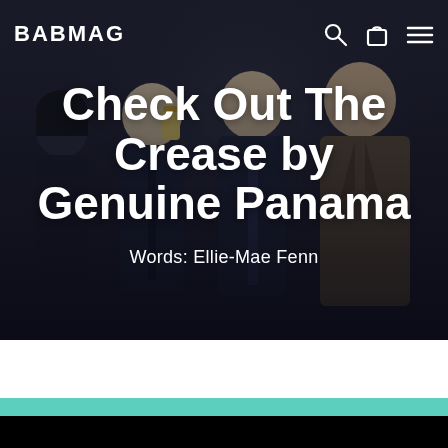BABMAG
[Figure (photo): Four young men posing together in a dark indoor setting. One wears a black beanie and gestures with his hand. Another drinks from a can. The others stand closely grouped, one wearing a dark jacket and another a light brown suede jacket. The photo has a dark, moody atmosphere.]
Check Out The Crease by Genuine Panama
Words: Ellie-Mae Fenn